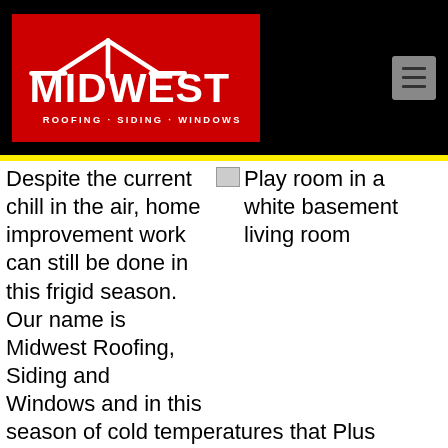[Figure (logo): Midwest Roofing, Siding and Windows company logo — red background, white text and house/roof icon, with tagline ROOFING · SIDING · WINDOWS]
[Figure (other): Hamburger menu icon (three horizontal lines) on a grey square button in the top-right of the black header]
Despite the current chill in the air, home improvement work can still be done in this frigid season. Our name is Midwest Roofing, Siding and Windows and in this season of cold temperatures that Plus means the remodeling work inside your home. If you are thinking about renovating your home, then think no more. Investing in home improvements will provide you with
Play room in a white basement living room